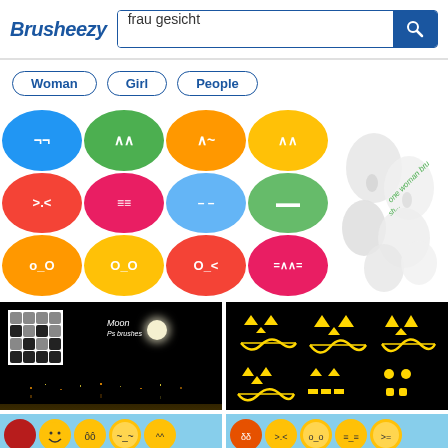Brusheezy — frau gesicht
Woman
Girl
People
[Figure (screenshot): Grid of colorful round emoji faces with various emoticon expressions on colored circles (blue, green, orange, yellow, red, pink)]
[Figure (photo): One woman brush preview — white 3D rendered feminine faces/noses with italic green text overlay]
[Figure (photo): Moon brush Photoshop brushes — dark night cityscape with moon and brush contact sheet]
[Figure (illustration): Halloween pumpkin faces — glowing yellow jack-o-lantern face designs on black background]
[Figure (illustration): Row of yellow emoji faces with various expressions on light blue background]
[Figure (illustration): Row of yellow/orange emoji faces with various expressions on light blue background]